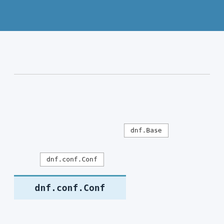[Figure (other): Diagram showing class/node boxes: dnf.Base, dnf.conf.Conf (small label), and dnf.conf.Conf (large highlighted box)]